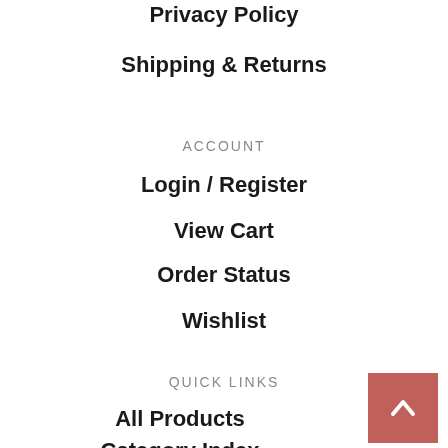Privacy Policy
Shipping & Returns
ACCOUNT
Login / Register
View Cart
Order Status
Wishlist
QUICK LINKS
All Products
Category Index